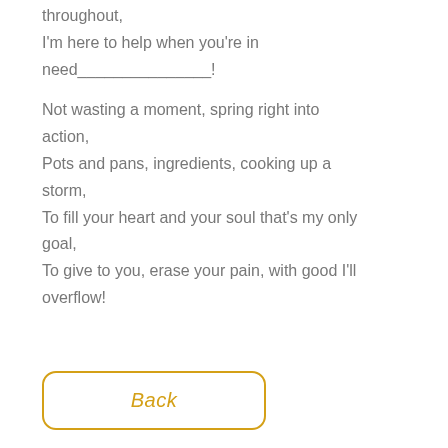throughout,
I'm here to help when you're in need_______________!

Not wasting a moment, spring right into action,
Pots and pans, ingredients, cooking up a storm,
To fill your heart and your soul that's my only goal,
To give to you, erase your pain, with good I'll overflow!
Back